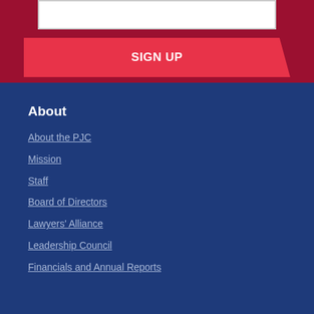[Figure (screenshot): White input box on dark red/crimson background]
SIGN UP
About
About the PJC
Mission
Staff
Board of Directors
Lawyers' Alliance
Leadership Council
Financials and Annual Reports